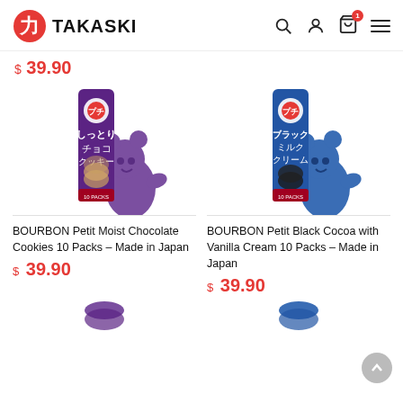TAKASKI
$ 39.90
[Figure (photo): BOURBON Petit Moist Chocolate Cookies package (purple, tall bar) with purple bear mascot]
[Figure (photo): BOURBON Petit Black Cocoa with Vanilla Cream package (blue, tall bar) with blue bear mascot]
BOURBON Petit Moist Chocolate Cookies 10 Packs – Made in Japan
$ 39.90
BOURBON Petit Black Cocoa with Vanilla Cream 10 Packs – Made in Japan
$ 39.90
[Figure (photo): Partial view of another BOURBON product (purple packaging, bottom of page)]
[Figure (photo): Partial view of another BOURBON product (right side, bottom of page)]